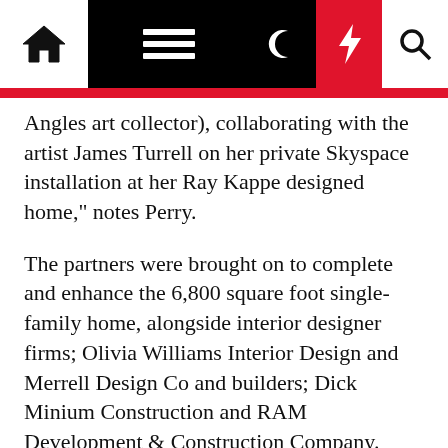Navigation bar with home, menu, moon, bolt, and search icons
Angles art collector), collaborating with the artist James Turrell on her private Skyspace installation at her Ray Kappe designed home," notes Perry.
The partners were brought on to complete and enhance the 6,800 square foot single-family home, alongside interior designer firms; Olivia Williams Interior Design and Merrell Design Co and builders; Dick Minium Construction and RAM Development & Construction Company. Though the schematic phase was complete, the team made some distinct changes while retaining the essence of Duncan's original concept.
Weathered brass elements in the